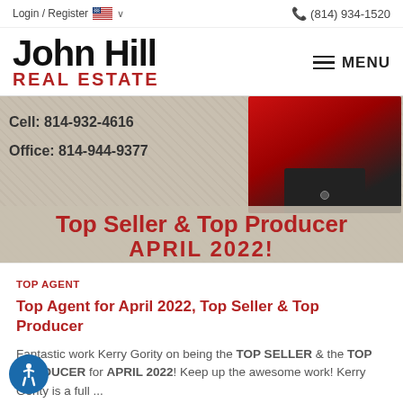Login / Register  (814) 934-1520
John Hill REAL ESTATE
[Figure (photo): Banner image showing contact info: Cell: 814-932-4616, Office: 814-944-9377, person in red jacket, with text 'Top Seller & Top Producer APRIL 2022!']
TOP AGENT
Top Agent for April 2022, Top Seller & Top Producer
Fantastic work Kerry Gority on being the TOP SELLER & the TOP PRODUCER for APRIL 2022! Keep up the awesome work!  Kerry Gority is a full ...